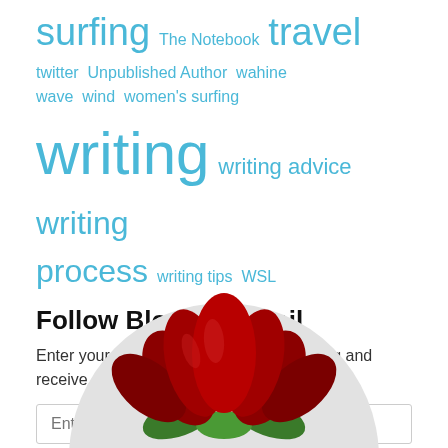surfing The Notebook travel twitter Unpublished Author wahine wave wind women's surfing writing writing advice writing process writing tips WSL
Follow Blog via Email
Enter your email address to follow this blog and receive notifications of new posts by email.
[Figure (illustration): Red lotus flower logo on a light gray circular background, partially visible at bottom of page]